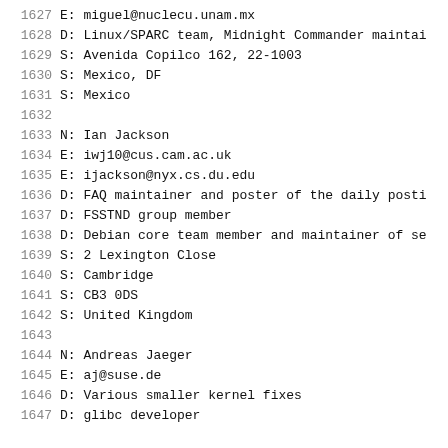1627   E: miguel@nuclecu.unam.mx
1628   D: Linux/SPARC team, Midnight Commander maintai
1629   S: Avenida Copilco 162, 22-1003
1630   S: Mexico, DF
1631   S: Mexico
1632
1633   N: Ian Jackson
1634   E: iwj10@cus.cam.ac.uk
1635   E: ijackson@nyx.cs.du.edu
1636   D: FAQ maintainer and poster of the daily posti
1637   D: FSSTND group member
1638   D: Debian core team member and maintainer of se
1639   S: 2 Lexington Close
1640   S: Cambridge
1641   S: CB3 0DS
1642   S: United Kingdom
1643
1644   N: Andreas Jaeger
1645   E: aj@suse.de
1646   D: Various smaller kernel fixes
1647   D: glibc developer